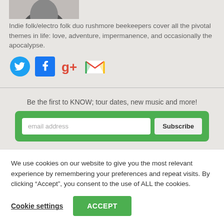[Figure (photo): Partial profile photo of a person, cropped at top of page]
Indie folk/electro folk duo rushmore beekeepers cover all the pivotal themes in life: love, adventure, impermanence, and occasionally the apocalypse.
[Figure (infographic): Social media icons: Twitter, Facebook, Google+, Gmail]
Be the first to KNOW; tour dates, new music and more!
[Figure (infographic): Email subscribe form with green background, email address input field and Subscribe button]
We use cookies on our website to give you the most relevant experience by remembering your preferences and repeat visits. By clicking “Accept”, you consent to the use of ALL the cookies.
Cookie settings   ACCEPT